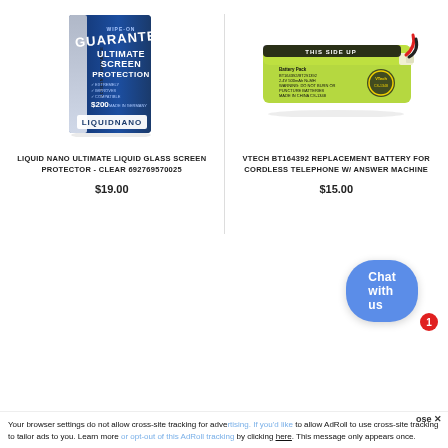[Figure (photo): LiquidNano Ultimate Screen Protection product package - blue packaging with white text and $200 screen assurance guarantee]
[Figure (photo): VTech BT164392 replacement battery for cordless telephone - yellow-green NiMH battery with red and black wires]
LIQUID NANO ULTIMATE LIQUID GLASS SCREEN PROTECTOR - CLEAR 692769570025
$19.00
VTECH BT164392 REPLACEMENT BATTERY FOR CORDLESS TELEPHONE W/ ANSWER MACHINE
$15.00
Chat with us
ose ✕
Your browser settings do not allow cross-site tracking for advertising. If you'd like to allow AdRoll to use cross-site tracking to tailor ads to you. Learn more or opt-out of this AdRoll tracking by clicking here. This message only appears once.